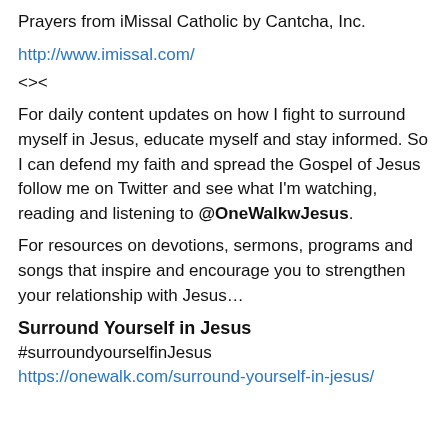Prayers from iMissal Catholic by Cantcha, Inc.
http://www.imissal.com/
<><
For daily content updates on how I fight to surround myself in Jesus, educate myself and stay informed. So I can defend my faith and spread the Gospel of Jesus follow me on Twitter and see what I'm watching, reading and listening to @OneWalkwJesus.
For resources on devotions, sermons, programs and songs that inspire and encourage you to strengthen your relationship with Jesus…
Surround Yourself in Jesus
#surroundyourselfinJesus
https://onewalk.com/surround-yourself-in-jesus/